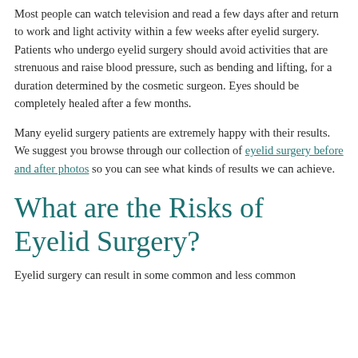Most people can watch television and read a few days after and return to work and light activity within a few weeks after eyelid surgery. Patients who undergo eyelid surgery should avoid activities that are strenuous and raise blood pressure, such as bending and lifting, for a duration determined by the cosmetic surgeon. Eyes should be completely healed after a few months.
Many eyelid surgery patients are extremely happy with their results. We suggest you browse through our collection of eyelid surgery before and after photos so you can see what kinds of results we can achieve.
What are the Risks of Eyelid Surgery?
Eyelid surgery can result in some common and less common...